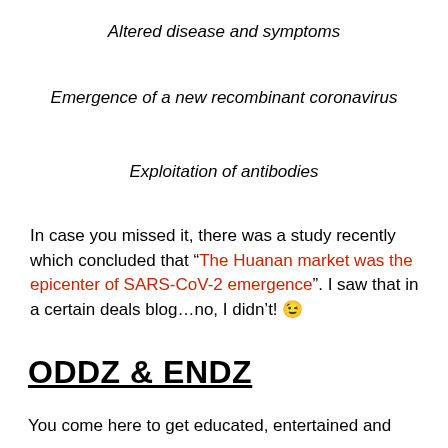Altered disease and symptoms
Emergence of a new recombinant coronavirus
Exploitation of antibodies
In case you missed it, there was a study recently which concluded that “The Huanan market was the epicenter of SARS-CoV-2 emergence”. I saw that in a certain deals blog…no, I didn’t! 😉
ODDZ & ENDZ
You come here to get educated, entertained and